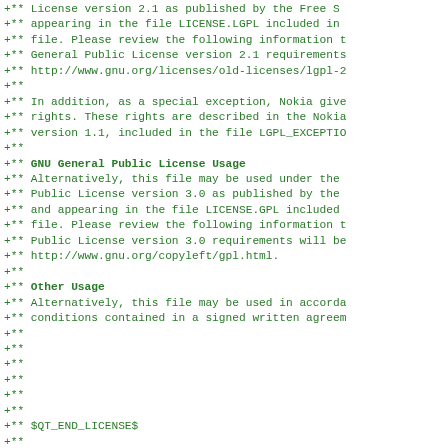+** License version 2.1 as published by the Free S
+** appearing in the file LICENSE.LGPL included in
+** file. Please review the following information t
+** General Public License version 2.1 requirements
+** http://www.gnu.org/licenses/old-licenses/lgpl-2
+**
+** In addition, as a special exception, Nokia give
+** rights. These rights are described in the Nokia
+** version 1.1, included in the file LGPL_EXCEPTIO
+**
+** GNU General Public License Usage
+** Alternatively, this file may be used under the
+** Public License version 3.0 as published by the
+** and appearing in the file LICENSE.GPL included
+** file. Please review the following information t
+** Public License version 3.0 requirements will be
+** http://www.gnu.org/copyleft/gpl.html.
+**
+** Other Usage
+** Alternatively, this file may be used in accorda
+** conditions contained in a signed written agreem
+**
+**
+**
+**
+**
+**
+** $QT_END_LICENSE$
+**
+**************************************************
+#include <QtTest/QtTest>
+#include <QMessageBox>